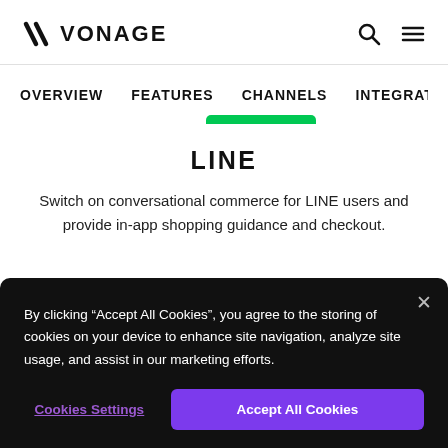VONAGE
OVERVIEW   FEATURES   CHANNELS   INTEGRATI
LINE
Switch on conversational commerce for LINE users and provide in-app shopping guidance and checkout.
By clicking “Accept All Cookies”, you agree to the storing of cookies on your device to enhance site navigation, analyze site usage, and assist in our marketing efforts.
Cookies Settings
Accept All Cookies